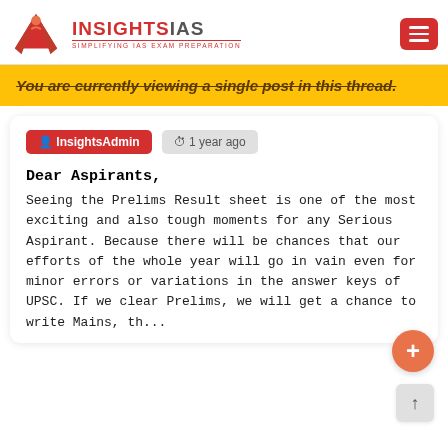[Figure (logo): InsightsIAS logo with red open book and person icon, text INSIGHTSIAS and subtitle SIMPLIFYING IAS EXAM PREPARATION]
You are currently viewing a single post in this thread.
InsightsAdmin   1 year ago
Dear Aspirants,
Seeing the Prelims Result sheet is one of the most exciting and also tough moments for any Serious Aspirant. Because there will be chances that our efforts of the whole year will go in vain even for minor errors or variations in the answer keys of UPSC. If we clear Prelims, we will get a chance to write Mains, th...